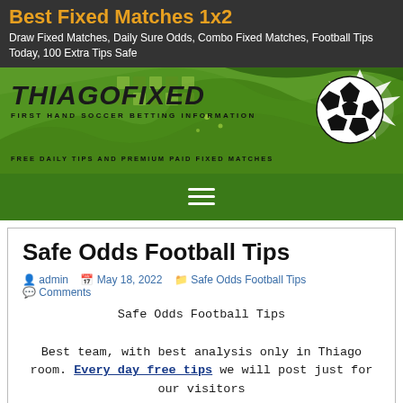Best Fixed Matches 1x2
Draw Fixed Matches, Daily Sure Odds, Combo Fixed Matches, Football Tips Today, 100 Extra Tips Safe
[Figure (logo): THIAGOFIXED banner logo with soccer ball and green decorative swirls. Text: THIAGOFIXED / FIRST HAND SOCCER BETTING INFORMATION / FREE DAILY TIPS AND PREMIUM PAID FIXED MATCHES]
Safe Odds Football Tips
admin  May 18, 2022  Safe Odds Football Tips
Comments
Safe Odds Football Tips

Best team, with best analysis only in Thiago room. Every day free tips we will post just for our visitors
This matches please don't use like a FIXED, because they are only good analysed matches.